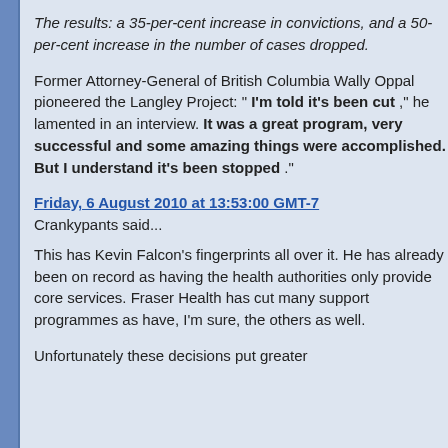The results: a 35-per-cent increase in convictions, and a 50-per-cent increase in the number of cases dropped.
Former Attorney-General of British Columbia Wally Oppal pioneered the Langley Project: " I'm told it's been cut ," he lamented in an interview. It was a great program, very successful and some amazing things were accomplished. But I understand it's been stopped ."
Friday, 6 August 2010 at 13:53:00 GMT-7
Crankypants said...
This has Kevin Falcon's fingerprints all over it. He has already been on record as having the health authorities only provide core services. Fraser Health has cut many support programmes as have, I'm sure, the others as well.
Unfortunately these decisions put greater